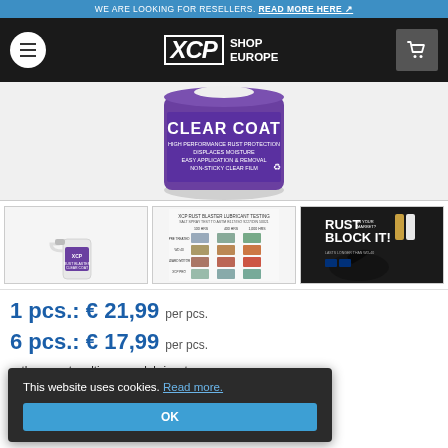WE ARE LOOKING FOR RESELLERS. READ MORE HERE
[Figure (screenshot): XCP Shop Europe navigation bar with hamburger menu, XCP logo, and shopping cart icon]
[Figure (photo): XCP Clear Coat product canister - purple label showing HIGH PERFORMANCE RUST PROTECTION, DISPLACES MOISTURE, EASY APPLICATION & REMOVAL, NON-STICKY CLEAR FILM]
[Figure (photo): XCP Clear Coat spray bottle thumbnail]
[Figure (photo): XCP lubrication testing chart showing rust protection over time]
[Figure (photo): Rust Block It advertisement with motorcycle]
1 pcs.: € 21,99 per pcs.
6 pcs.: € 17,99 per pcs.
than most multipurpose lubricants esting ASTM B117 / ISO 9227 / DIN
This website uses cookies. Read more.